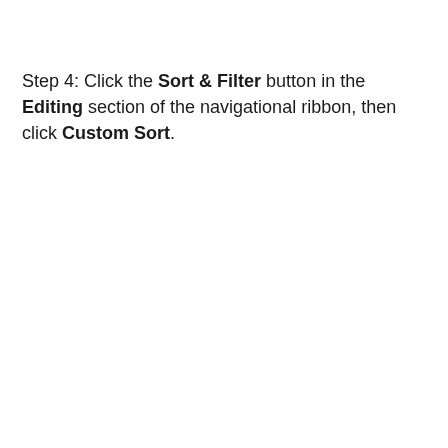Step 4: Click the Sort & Filter button in the Editing section of the navigational ribbon, then click Custom Sort.